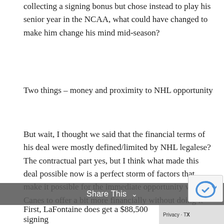collecting a signing bonus but chose instead to play his senior year in the NCAA, what could have changed to make him change his mind mid-season?
Two things – money and proximity to NHL opportunity
But wait, I thought we said that the financial terms of his deal were mostly defined/limited by NHL legalese? The contractual part yes, but I think what made this deal possible now is a perfect storm of factors that make it possible for the immediate opportunity with the Canes to offer a bit more financially without doing it contractually.
Share This ∨
First, LaFontaine does get a $88,500 signing